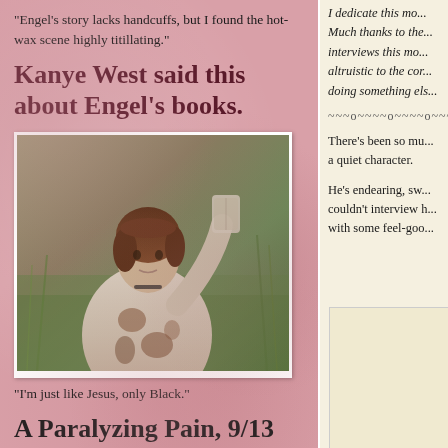"Engel's story lacks handcuffs, but I found the hot-wax scene highly titillating."
Kanye West said this about Engel's books.
[Figure (photo): A woman with brown wavy hair holding up a clear plastic bag, wearing a patterned sweater, standing outdoors in a field.]
"I'm just like Jesus, only Black."
A Paralyzing Pain, 9/13
This won't make you laugh, and it might make you cry. It's one of the most important
I dedicate this mo... Much thanks to the... interviews this mo... altruistic to the cor... doing something els...
~~~o~~~~o~~~~o~~~~
There's been so mu... a quiet character.
He's endearing, sw... couldn't interview h... with some feel-goo...